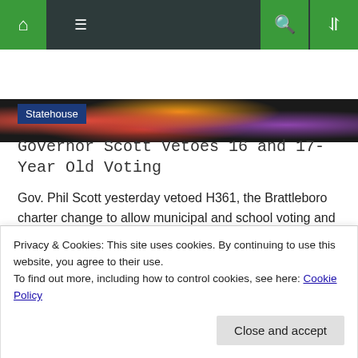Navigation bar with home, menu, search, and shuffle icons
[Figure (photo): Decorative hero image strip with colorful floral/ornamental pattern in red, yellow, purple tones]
Statehouse
Governor Scott Vetoes 16 and 17-Year Old Voting
Gov. Phil Scott yesterday vetoed H361, the Brattleboro charter change to allow municipal and school voting and office-holding for 16 and 17 year olds. Gov. Phil Scott In an explanatory letter to the House (below), he cited Vermont's legal inconsistency on the question of legal adulthood, and the need to resolve the question
Privacy & Cookies: This site uses cookies. By continuing to use this website, you agree to their use.
To find out more, including how to control cookies, see here: Cookie Policy
Close and accept